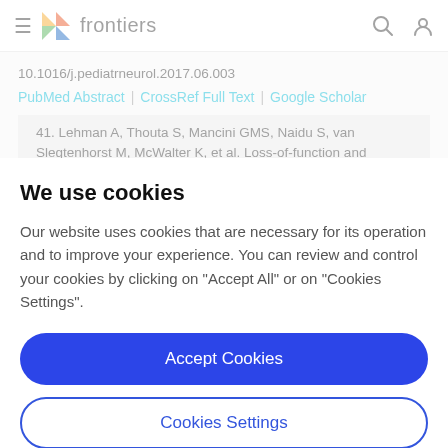frontiers
10.1016/j.pediatrneurol.2017.06.003
PubMed Abstract | CrossRef Full Text | Google Scholar
41. Lehman A, Thouta S, Mancini GMS, Naidu S, van Slegtenhorst M, McWalter K, et al. Loss-of-function and
We use cookies
Our website uses cookies that are necessary for its operation and to improve your experience. You can review and control your cookies by clicking on "Accept All" or on "Cookies Settings".
Accept Cookies
Cookies Settings